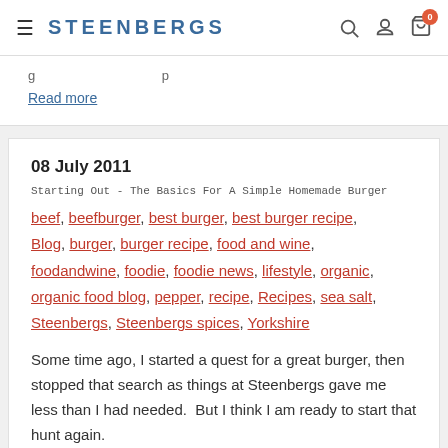STEENBERGS
Read more
08 July 2011
Starting Out - The Basics For A Simple Homemade Burger
beef, beefburger, best burger, best burger recipe, Blog, burger, burger recipe, food and wine, foodandwine, foodie, foodie news, lifestyle, organic, organic food blog, pepper, recipe, Recipes, sea salt, Steenbergs, Steenbergs spices, Yorkshire
Some time ago, I started a quest for a great burger, then stopped that search as things at Steenbergs gave me less than I had needed. But I think I am ready to start that hunt again.